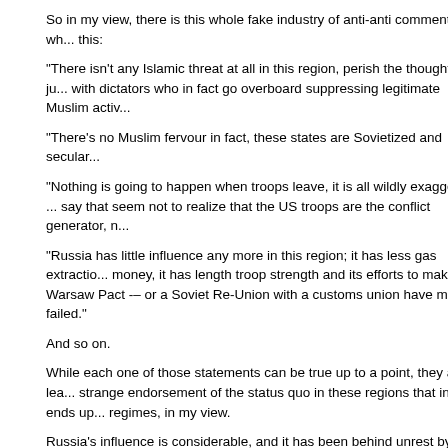So in my view, there is this whole fake industry of anti-anti commentary, wh... this:
"There isn't any Islamic threat at all in this region, perish the thought, it's ju... with dictators who in fact go overboard suppressing legitimate Muslim activ...
"There's no Muslim fervour in fact, these states are Sovietized and secular...
"Nothing is going to happen when troops leave, it is all wildly exaggerated ... say that seem not to realize that the US troops are the conflict generator, n...
"Russia has little influence any more in this region; it has less gas extractio... money, it has length troop strength and its efforts to make a Warsaw Pact -... or a Soviet Re-Union with a customs union have mainly failed."
And so on.
While each one of those statements can be true up to a point, they also lea... strange endorsement of the status quo in these regions that in fact ends up... regimes, in my view.
Russia's influence is considerable, and it has been behind unrest by its act... Bakiyev's ouster and its threats to Atambayev) or inaction (with the pogrom... remittance economies are huge -- for the labour migrants from Tajikistan in... increasingly Uzbekistan and even Turkmenistan. That means that Russia v... dominating the lives of these countries through some of their most vulnerab... not just the mainly male workers but the females left back home as head o... with children. The Russian language did not disappear from this region, ev... less, because dominating Russian mainstream media, and Russian-contro... media like mail.ru and Vkontakte, are very big factors in the media space i...
As for terrorism, sure, it gets exaggerated and the regimes "do it to themse...